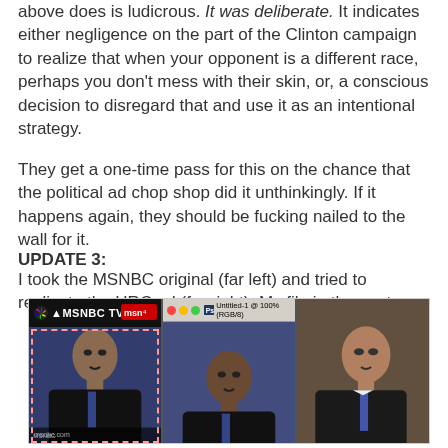above does is ludicrous. It was deliberate. It indicates either negligence on the part of the Clinton campaign to realize that when your opponent is a different race, perhaps you don't mess with their skin, or, a conscious decision to disregard that and use it as an intentional strategy.
They get a one-time pass for this on the chance that the political ad chop shop did it unthinkingly. If it happens again, they should be fucking nailed to the wall for it.
UPDATE 3:
I took the MSNBC original (far left) and tried to replicate the HRC ad (far right). My file in the center.
[Figure (screenshot): Three side-by-side panels showing comparison: left panel is MSNBC TV original with a person in a dark suit, center panel shows a Photoshop file (Untitled-1 @ 100% RGB/8) replicating the image, right panel shows the HRC ad version. All three feature the same person photographed during what appears to be a news broadcast.]